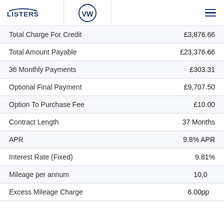LISTERS VW
|  |  |
| --- | --- |
| Total Charge For Credit | £3,876.66 |
| Total Amount Payable | £23,376.66 |
| 36 Monthly Payments | £303.31 |
| Optional Final Payment | £9,707.50 |
| Option To Purchase Fee | £10.00 |
| Contract Length | 37 Months |
| APR | 9.8% APR |
| Interest Rate (Fixed) | 9.81% |
| Mileage per annum | 10,000 |
| Excess Mileage Charge | 6.00pp |